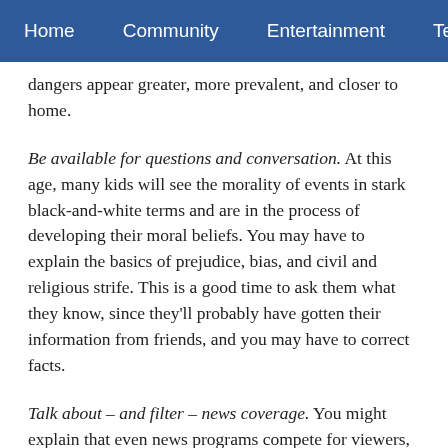Home   Community   Entertainment   Techn›
dangers appear greater, more prevalent, and closer to home.
Be available for questions and conversation. At this age, many kids will see the morality of events in stark black-and-white terms and are in the process of developing their moral beliefs. You may have to explain the basics of prejudice, bias, and civil and religious strife. This is a good time to ask them what they know, since they'll probably have gotten their information from friends, and you may have to correct facts.
Talk about – and filter – news coverage. You might explain that even news programs compete for viewers, which sometimes affects content decisions. If you let your kids use the internet, go online with